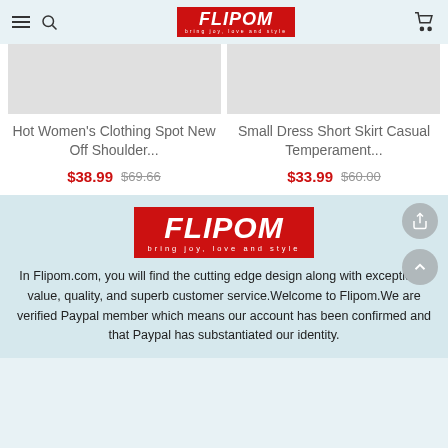FLIPOM - bring joy, love and style
[Figure (photo): Two product image placeholders (light grey boxes) for clothing items]
Hot Women's Clothing Spot New Off Shoulder...
$38.99  $69.66
Small Dress Short Skirt Casual Temperament...
$33.99  $60.00
[Figure (logo): FLIPOM logo - red background with white bold italic text and tagline 'bring joy, love and style']
In Flipom.com, you will find the cutting edge design along with exceptional value, quality, and superb customer service.Welcome to Flipom.We are verified Paypal member which means our account has been confirmed and that Paypal has substantiated our identity.